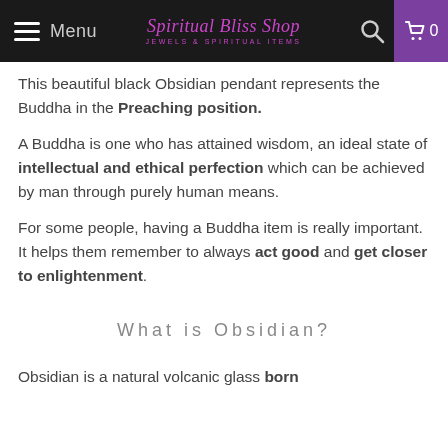Menu | Spiritual Bliss Shop JEWELS & SPIRITUAL ITEMS | 0
This beautiful black Obsidian pendant represents the Buddha in the Preaching position.
A Buddha is one who has attained wisdom, an ideal state of intellectual and ethical perfection which can be achieved by man through purely human means.
For some people, having a Buddha item is really important. It helps them remember to always act good and get closer to enlightenment.
What is Obsidian?
Obsidian is a natural volcanic glass born